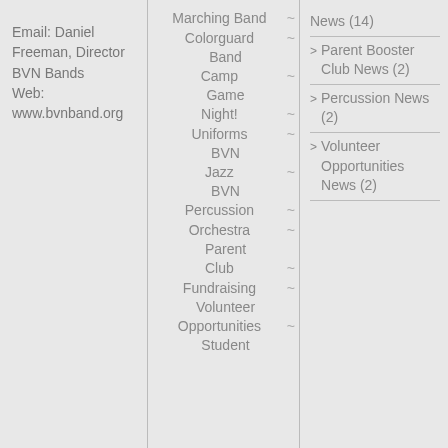Email: Daniel Freeman, Director BVN Bands
Web: www.bvnband.org
Marching Band ~
Colorguard ~
Band Camp ~
Game Night! ~
Uniforms ~
BVN Jazz ~
BVN Percussion ~
Orchestra ~
Parent Club ~
Fundraising ~
Volunteer Opportunities ~
Student
News (14)
Parent Booster Club News (2)
Percussion News (2)
Volunteer Opportunities News (2)